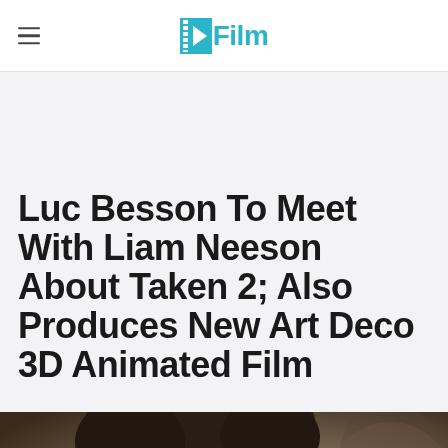/Film
Luc Besson To Meet With Liam Neeson About Taken 2; Also Produces New Art Deco 3D Animated Film
[Figure (photo): Close-up photo of a man (Liam Neeson) with dark hair, partially visible, with blurred background]